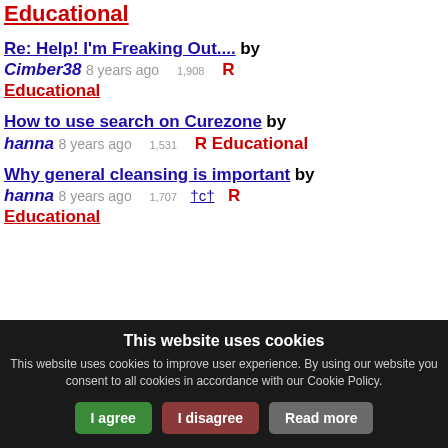Educational
Re: Help! I'm Freaking Out.... by Cimber38 8 years ago 1,908 R Educational
How to use search on Curezone by hanna 8 years ago 1,531 R Educational
Why general cleansing is important by hanna 8 years ago 1,707 †c† R Educational
This website uses cookies. This website uses cookies to improve user experience. By using our website you consent to all cookies in accordance with our Cookie Policy.